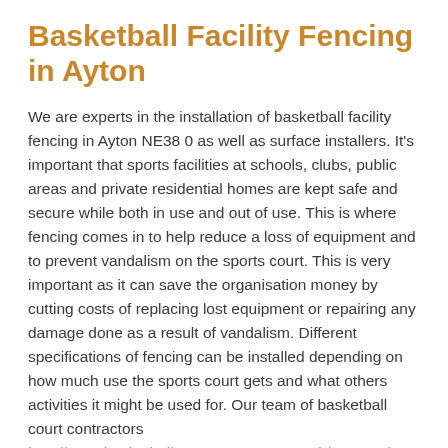Basketball Facility Fencing in Ayton
We are experts in the installation of basketball facility fencing in Ayton NE38 0 as well as surface installers. It's important that sports facilities at schools, clubs, public areas and private residential homes are kept safe and secure while both in use and out of use. This is where fencing comes in to help reduce a loss of equipment and to prevent vandalism on the sports court. This is very important as it can save the organisation money by cutting costs of replacing lost equipment or repairing any damage done as a result of vandalism. Different specifications of fencing can be installed depending on how much use the sports court gets and what others activities it might be used for. Our team of basketball court contractors http://www.basketballcourtcontractors.co.uk/tyne-and-wear/ayton/ will be able to give you some more in depth advice on the best type of specification for your facility. Fill in our short contact form today to talk about costs and receive a quote.